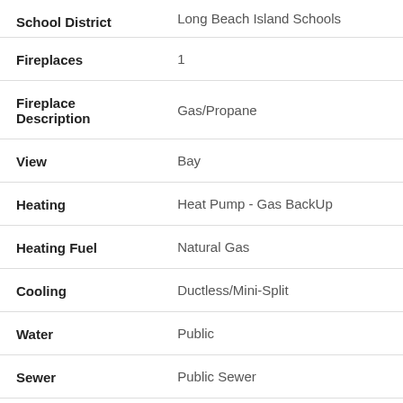| Property | Value |
| --- | --- |
| School District | Long Beach Island Schools |
| Fireplaces | 1 |
| Fireplace Description | Gas/Propane |
| View | Bay |
| Heating | Heat Pump - Gas BackUp |
| Heating Fuel | Natural Gas |
| Cooling | Ductless/Mini-Split |
| Water | Public |
| Sewer | Public Sewer |
| Room Level | Den: Main |